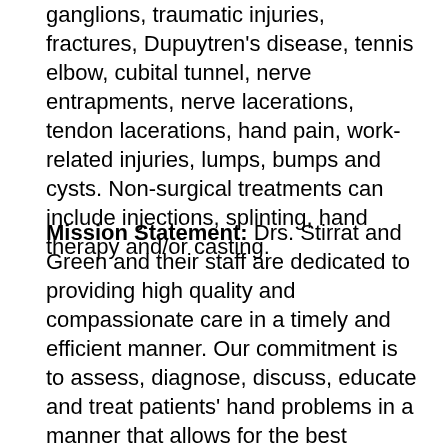ganglions, traumatic injuries, fractures, Dupuytren's disease, tennis elbow, cubital tunnel, nerve entrapments, nerve lacerations, tendon lacerations, hand pain, work-related injuries, lumps, bumps and cysts. Non-surgical treatments can include injections, splinting, hand therapy and/or casting.
Mission Statement: Drs. Stirrat and Green and their staff are dedicated to providing high quality and compassionate care in a timely and efficient manner. Our commitment is to assess, diagnose, discuss, educate and treat patients' hand problems in a manner that allows for the best possible outcome. Dr. Stirrat and Dr. Green will spend time with patients to ensure their understanding of treatment options and ability to make educated decisions about their treatment, whether surgical or non-surgical.